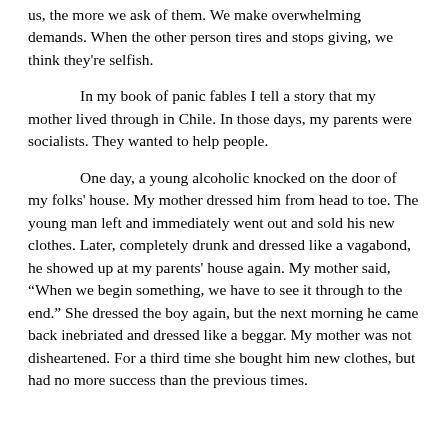us, the more we ask of them. We make overwhelming demands. When the other person tires and stops giving, we think they're selfish.

In my book of panic fables I tell a story that my mother lived through in Chile. In those days, my parents were socialists. They wanted to help people.

One day, a young alcoholic knocked on the door of my folks' house. My mother dressed him from head to toe. The young man left and immediately went out and sold his new clothes. Later, completely drunk and dressed like a vagabond, he showed up at my parents' house again. My mother said, “When we begin something, we have to see it through to the end.” She dressed the boy again, but the next morning he came back inebriated and dressed like a beggar. My mother was not disheartened. For a third time she bought him new clothes, but had no more success than the previous times. The...